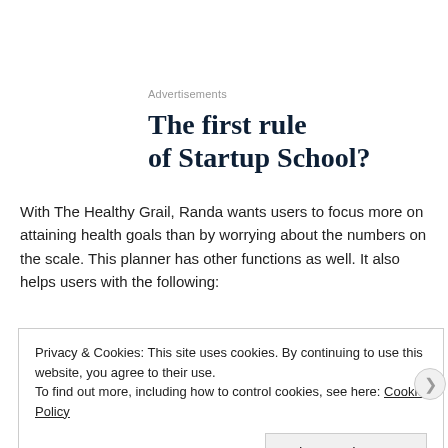Advertisements
The first rule of Startup School?
With The Healthy Grail, Randa wants users to focus more on attaining health goals than by worrying about the numbers on the scale. This planner has other functions as well. It also helps users with the following:
Privacy & Cookies: This site uses cookies. By continuing to use this website, you agree to their use.
To find out more, including how to control cookies, see here: Cookie Policy
Close and accept